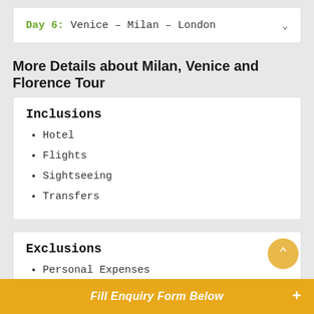Day 6: Venice – Milan – London
More Details about Milan, Venice and Florence Tour
Inclusions
Hotel
Flights
Sightseeing
Transfers
Exclusions
Personal Expenses
Any other services which are not mentioned above.
Fill Enquiry Form Below +